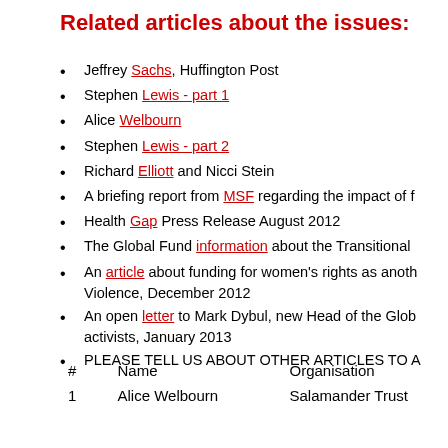Related articles about the issues:
Jeffrey Sachs, Huffington Post
Stephen Lewis - part 1
Alice Welbourn
Stephen Lewis  - part 2
Richard Elliott and Nicci Stein
A briefing report from MSF regarding the impact of f…
Health Gap Press Release August 2012
The Global Fund information about the Transitional…
An article about funding for women's rights as anoth… Violence, December 2012
An open letter to Mark Dybul, new Head of the Glob… activists, January 2013
PLEASE TELL US ABOUT OTHER ARTICLES TO A…
| # | Name | Organisation |
| --- | --- | --- |
| 1 | Alice Welbourn | Salamander Trust |